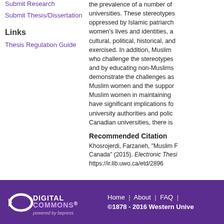Submit Research
Submit Thesis/Dissertation
Links
Thesis Regulation Guide
the prevalence of a number of universities. These stereotypes oppressed by Islamic patriarch women's lives and identities, a cultural, political, historical, and exercised. In addition, Muslim who challenge the stereotypes and by educating non-Muslims demonstrate the challenges as Muslim women and the suppor Muslim women in maintaining have significant implications fo university authorities and polic Canadian universities, there is
Recommended Citation
Khosrojerdi, Farzaneh, "Muslim F Canada" (2015). Electronic Thesi https://ir.lib.uwo.ca/etd/2896
[Figure (logo): Digital Commons powered by bepress logo in white on purple background]
Home | About | FAQ |
©1878 - 2016 Western Unive